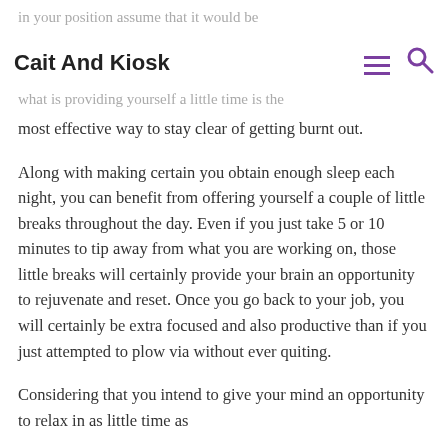Cait And Kiosk
most effective way to stay clear of getting burnt out.
Along with making certain you obtain enough sleep each night, you can benefit from offering yourself a couple of little breaks throughout the day. Even if you just take 5 or 10 minutes to tip away from what you are working on, those little breaks will certainly provide your brain an opportunity to rejuvenate and reset. Once you go back to your job, you will certainly be extra focused and also productive than if you just attempted to plow via without ever quiting.
Considering that you intend to give your mind an opportunity to relax in as little time as